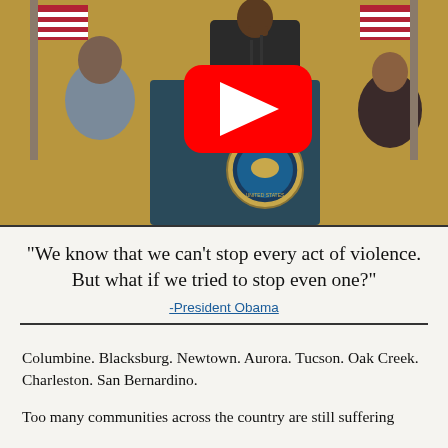[Figure (photo): Photo of President Obama speaking at a podium with the Presidential Seal, with a YouTube play button overlay. American flags and audience members visible in the background.]
“We know that we can’t stop every act of violence. But what if we tried to stop even one?”
-President Obama
Columbine. Blacksburg. Newtown. Aurora. Tucson. Oak Creek. Charleston. San Bernardino.
Too many communities across the country are still suffering